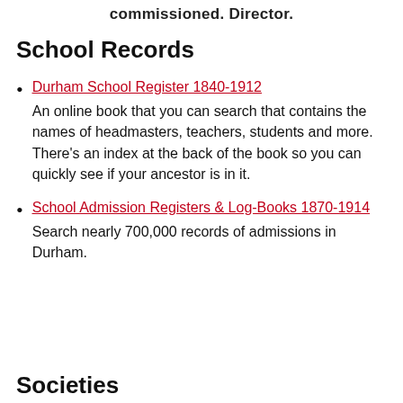commissioned. Director.
School Records
Durham School Register 1840-1912
An online book that you can search that contains the names of headmasters, teachers, students and more. There’s an index at the back of the book so you can quickly see if your ancestor is in it.
School Admission Registers & Log-Books 1870-1914
Search nearly 700,000 records of admissions in Durham.
Societies